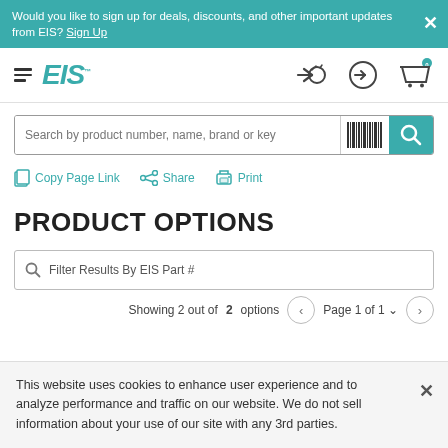Would you like to sign up for deals, discounts, and other important updates from EIS? Sign Up
[Figure (logo): EIS logo with hamburger menu icon]
[Figure (screenshot): Search bar with placeholder text: Search by product number, name, brand or key...]
Copy Page Link  Share  Print
PRODUCT OPTIONS
Filter Results By EIS Part #
Showing 2 out of 2 options  Page 1 of 1
This website uses cookies to enhance user experience and to analyze performance and traffic on our website. We do not sell information about your use of our site with any 3rd parties.